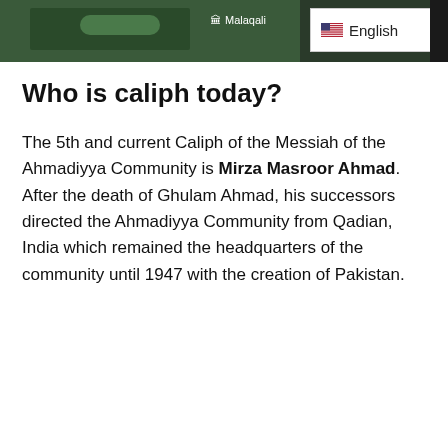[Figure (screenshot): Map screenshot with Malaqali label and English language selector dropdown with US flag]
Who is caliph today?
The 5th and current Caliph of the Messiah of the Ahmadiyya Community is Mirza Masroor Ahmad. After the death of Ghulam Ahmad, his successors directed the Ahmadiyya Community from Qadian, India which remained the headquarters of the community until 1947 with the creation of Pakistan.
[Figure (photo): Gray image card with Belief label and comment icon showing 0 comments]